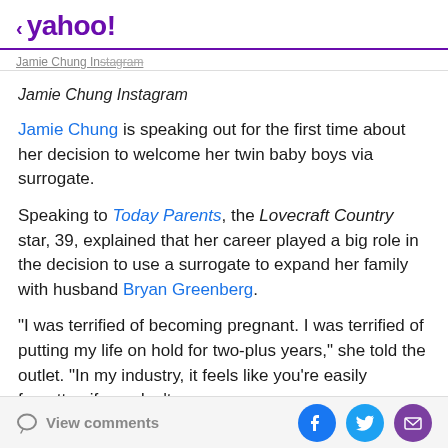< yahoo!
Jamie Chung Instagram
Jamie Chung Instagram
Jamie Chung is speaking out for the first time about her decision to welcome her twin baby boys via surrogate.
Speaking to Today Parents, the Lovecraft Country star, 39, explained that her career played a big role in the decision to use a surrogate to expand her family with husband Bryan Greenberg.
"I was terrified of becoming pregnant. I was terrified of putting my life on hold for two-plus years," she told the outlet. "In my industry, it feels like you're easily forgotten if you're not..."
View comments